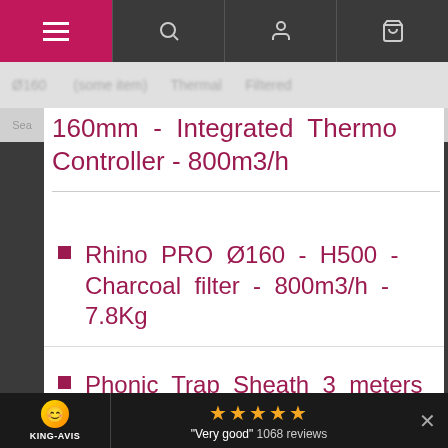Navigation bar with menu, search, account, and cart icons
160mm - Integrated Thermo Controller - 800m3/h
Rhino PRO Ø160 - H500 - Charcoal filter - 800m3/h - 7.8Kg
Phonic Trap Sheath 3 meters - Ø127mm Pre-cut
Clamp 25 - 175mm - Ideal for air extractor x2
KING-AVIS ★★★★★ "Very good" 1068 reviews